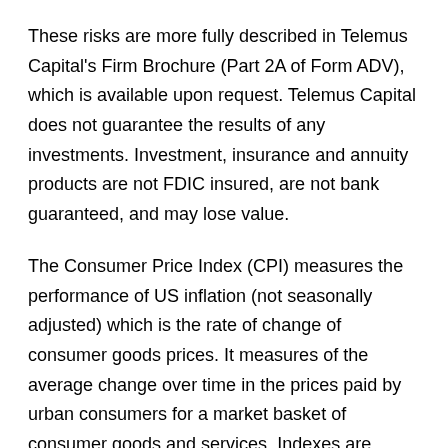These risks are more fully described in Telemus Capital's Firm Brochure (Part 2A of Form ADV), which is available upon request. Telemus Capital does not guarantee the results of any investments. Investment, insurance and annuity products are not FDIC insured, are not bank guaranteed, and may lose value.
The Consumer Price Index (CPI) measures the performance of US inflation (not seasonally adjusted) which is the rate of change of consumer goods prices. It measures of the average change over time in the prices paid by urban consumers for a market basket of consumer goods and services. Indexes are available for the U.S. and various geographic areas. Average price data for select utility, automotive fuel, and food items are also available. The data is from Bureau of Labor Statistics. The value of the current month CPI is estimated by the average value